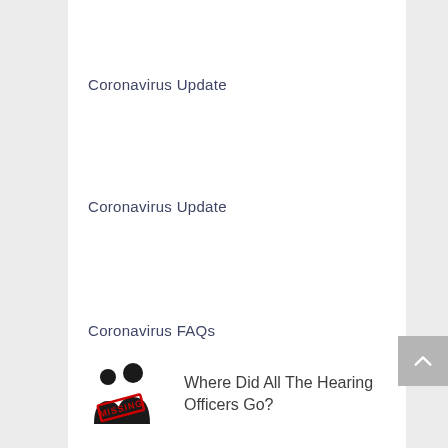Coronavirus Update
Coronavirus Update
Coronavirus FAQs
[Figure (illustration): Two silhouetted figures with a red 'MISSING' stamp overlaid]
Where Did All The Hearing Officers Go?